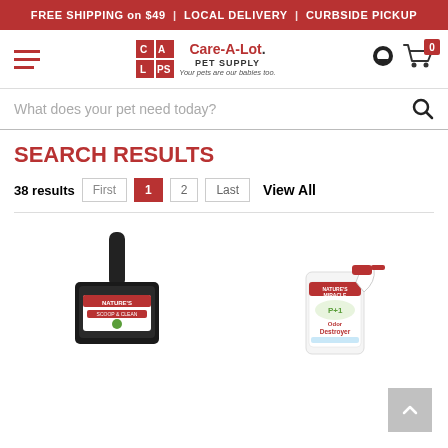FREE SHIPPING on $49  |  LOCAL DELIVERY  |  CURBSIDE PICKUP
[Figure (logo): Care-A-Lot Pet Supply logo with hamburger menu, location pin, and cart icon showing 0 items]
What does your pet need today?
SEARCH RESULTS
38 results   First  1  2  Last   View All
[Figure (photo): Nature's Miracle cat litter scoop/pan product]
[Figure (photo): Nature's Miracle Plus Odor Destroyer spray bottle]